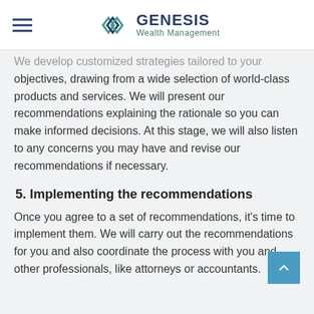GENESIS Wealth Management
We develop customized strategies tailored to your objectives, drawing from a wide selection of world-class products and services. We will present our recommendations explaining the rationale so you can make informed decisions. At this stage, we will also listen to any concerns you may have and revise our recommendations if necessary.
5. Implementing the recommendations
Once you agree to a set of recommendations, it's time to implement them. We will carry out the recommendations for you and also coordinate the process with you and other professionals, like attorneys or accountants.
6. Monitoring